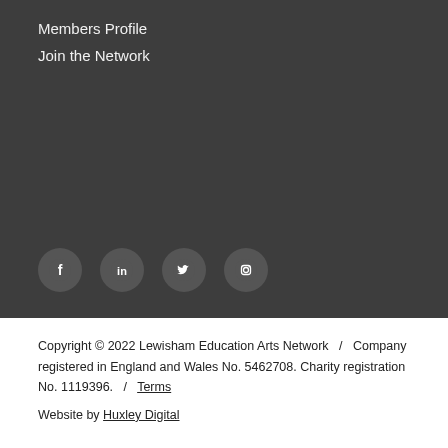Members Profile
Join the Network
[Figure (infographic): Row of four social media icon circles: Facebook, LinkedIn, Twitter, Instagram]
Copyright © 2022 Lewisham Education Arts Network  /  Company registered in England and Wales No. 5462708. Charity registration No. 1119396.  /  Terms
Website by Huxley Digital